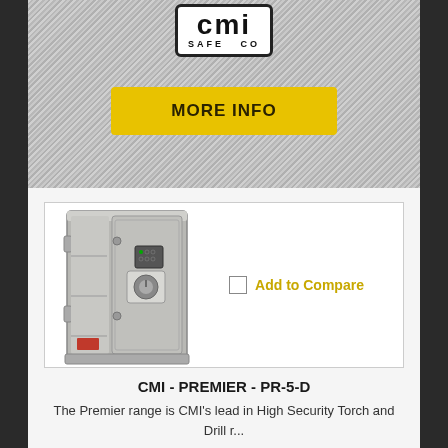[Figure (logo): CMI Safe Co logo — bold black CMI lettering with SAFE CO text beneath, inside a rounded rectangle border]
[Figure (other): Yellow button labeled MORE INFO]
[Figure (photo): CMI Premier PR-5-D safe shown open with door ajar, grey finish, digital lock]
Add to Compare
CMI - PREMIER - PR-5-D
The Premier range is CMI's lead in High Security Torch and Drill r...